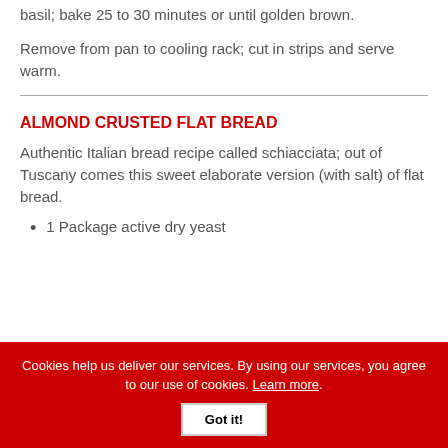basil; bake 25 to 30 minutes or until golden brown.
Remove from pan to cooling rack; cut in strips and serve warm.
ALMOND CRUSTED FLAT BREAD
Authentic Italian bread recipe called schiacciata; out of Tuscany comes this sweet elaborate version (with salt) of flat bread.
1 Package active dry yeast
Cookies help us deliver our services. By using our services, you agree to our use of cookies. Learn more. Got it!